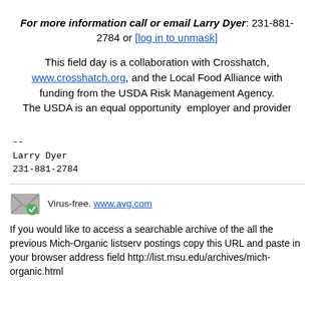For more information call or email Larry Dyer: 231-881-2784 or [log in to unmask]
This field day is a collaboration with Crosshatch, www.crosshatch.org, and the Local Food Alliance with funding from the USDA Risk Management Agency. The USDA is an equal opportunity employer and provider
--
Larry Dyer
231-881-2784
Virus-free. www.avg.com
If you would like to access a searchable archive of the all the previous Mich-Organic listserv postings copy this URL and paste in your browser address field http://list.msu.edu/archives/mich-organic.html